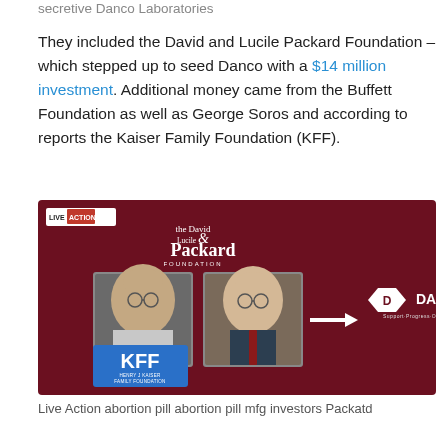secretive Danco Laboratories
They included the David and Lucile Packard Foundation – which stepped up to seed Danco with a $14 million investment. Additional money came from the Buffett Foundation as well as George Soros and according to reports the Kaiser Family Foundation (KFF).
[Figure (infographic): Live Action branded infographic showing the David & Lucile Packard Foundation logo, photos of George Soros and Warren Buffett, an arrow pointing to the Danco logo (Support·Progress·Options), and the KFF (Henry J Kaiser Family Foundation) logo on a dark red background.]
Live Action abortion pill abortion pill mfg investors Packatd